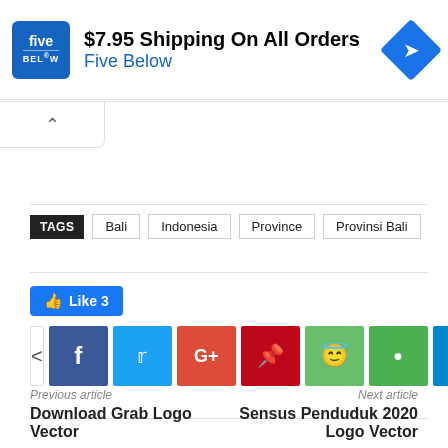[Figure (screenshot): Five Below advertisement banner: $7.95 Shipping On All Orders, with Five Below logo and navigation arrow icon]
TAGS   Bali   Indonesia   Province   Provinsi Bali
[Figure (screenshot): Social share buttons: Like 3, share icon, Facebook, Twitter, Google+, Pinterest, WhatsApp, Line, Telegram]
Previous article
Next article
Download Grab Logo Vector
Sensus Penduduk 2020 Logo Vector